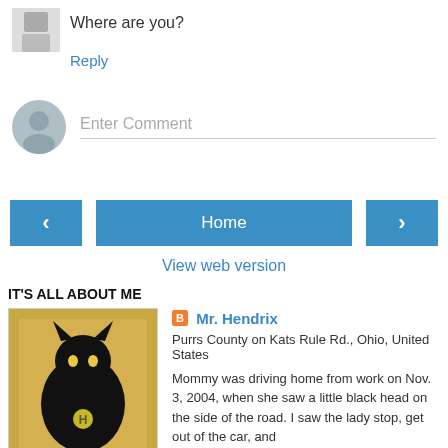Where are you?
Reply
Enter Comment
Home
View web version
IT'S ALL ABOUT ME
Mr. Hendrix
Purrs County on Kats Rule Rd., Ohio, United States
Mommy was driving home from work on Nov. 3, 2004, when she saw a little black head on the side of the road. I saw the lady stop, get out of the car, and come over my way. I was curious, and comfy so I just lay there. She looked really worried & said she thought I'd been hurt and that she was going to go home to "get Greg" & I should just wait there. Being